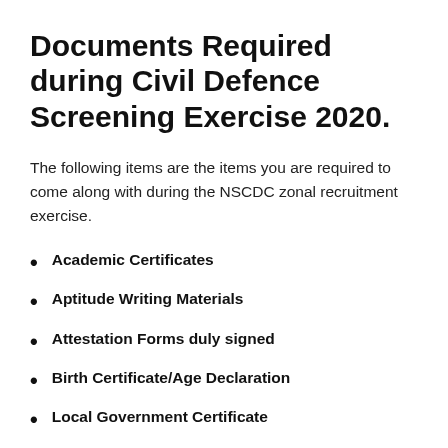Documents Required during Civil Defence Screening Exercise 2020.
The following items are the items you are required to come along with during the NSCDC zonal recruitment exercise.
Academic Certificates
Aptitude Writing Materials
Attestation Forms duly signed
Birth Certificate/Age Declaration
Local Government Certificate
Medical Reports